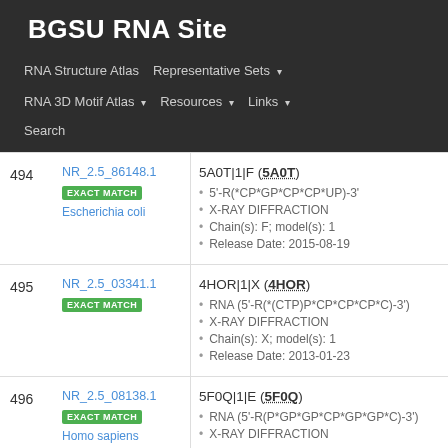BGSU RNA Site
RNA Structure Atlas | Representative Sets ▾ | RNA 3D Motif Atlas ▾ | Resources ▾ | Links ▾ | Search
| # | NR ID / Match / Organism | PDB Entry Details |
| --- | --- | --- |
| 494 | NR_2.5_86148.1 EXACT MATCH Escherichia coli | 5A0T|1|F (5A0T)
5'-R(*CP*GP*CP*CP*UP)-3'
X-RAY DIFFRACTION
Chain(s): F; model(s): 1
Release Date: 2015-08-19 |
| 495 | NR_2.5_03341.1 EXACT MATCH | 4HOR|1|X (4HOR)
RNA (5'-R(*(CTP)P*CP*CP*CP*C)-3')
X-RAY DIFFRACTION
Chain(s): X; model(s): 1
Release Date: 2013-01-23 |
| 496 | NR_2.5_08138.1 EXACT MATCH Homo sapiens | 5F0Q|1|E (5F0Q)
RNA (5'-R(P*GP*GP*CP*GP*GP*C)-3')
X-RAY DIFFRACTION |